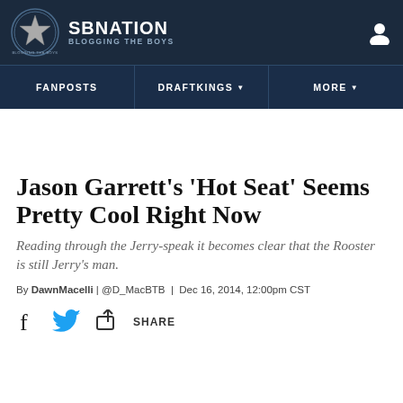SB NATION — BLOGGING THE BOYS
Jason Garrett's 'Hot Seat' Seems Pretty Cool Right Now
Reading through the Jerry-speak it becomes clear that the Rooster is still Jerry's man.
By DawnMacelli | @D_MacBTB | Dec 16, 2014, 12:00pm CST